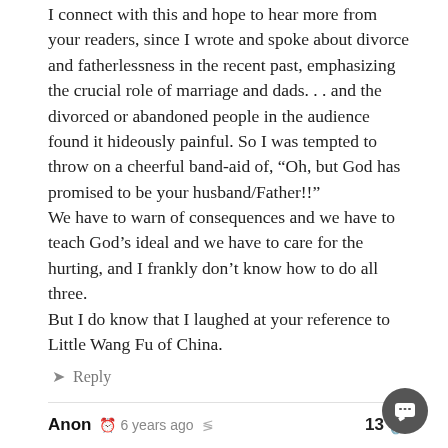I connect with this and hope to hear more from your readers, since I wrote and spoke about divorce and fatherlessness in the recent past, emphasizing the crucial role of marriage and dads. . . and the divorced or abandoned people in the audience found it hideously painful. So I was tempted to throw on a cheerful band-aid of, “Oh, but God has promised to be your husband/Father!!” We have to warn of consequences and we have to teach God’s ideal and we have to care for the hurting, and I frankly don’t know how to do all three. But I do know that I laughed at your reference to Little Wang Fu of China.
Reply
Anon © 6 years ago 13
So I’m not the only one who doesn’t just read a child’s book n let it go? I’ve been bugged by all the